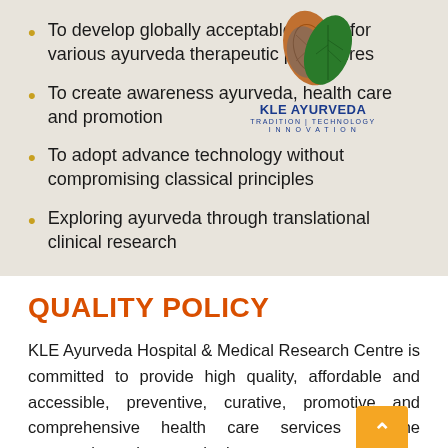To develop globally acceptable SOPs for various ayurveda therapeutic procedures
To create awareness ayurveda, health care and promotion
[Figure (logo): KLE Ayurveda logo with two leaves (one brown/orange with globe motif, one dark green) and text 'KLE AYURVEDA TRADITION | TECHNOLOGY INNOVATION']
To adopt advance technology without compromising classical principles
Exploring ayurveda through translational clinical research
QUALITY POLICY
KLE Ayurveda Hospital & Medical Research Centre is committed to provide high quality, affordable and accessible, preventive, curative, promotive and comprehensive health care services to the community and assure the best outcome